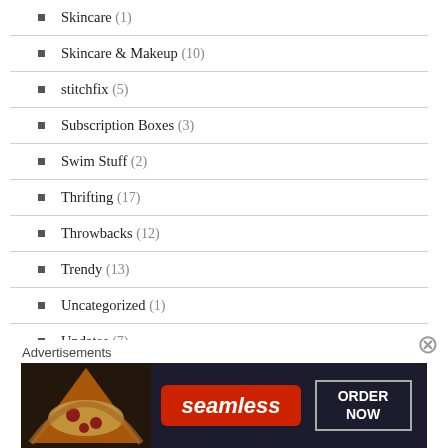Skincare (1)
Skincare & Makeup (10)
stitchfix (5)
Subscription Boxes (3)
Swim Stuff (2)
Thrifting (17)
Throwbacks (12)
Trendy (13)
Uncategorized (1)
Updates (7)
Urban (70)
urban glam (33)
Advertisements
[Figure (screenshot): Seamless food ordering advertisement banner with pizza image on left, Seamless logo in red, and ORDER NOW button]